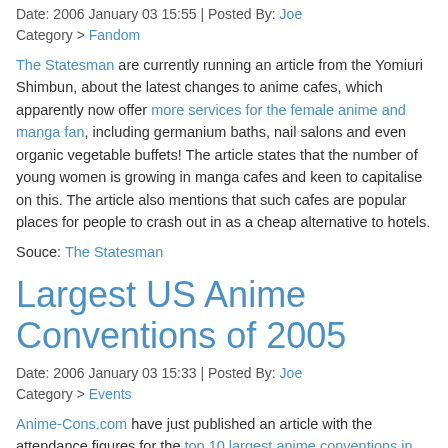Date: 2006 January 03 15:55 | Posted By: Joe
Category > Fandom
The Statesman are currently running an article from the Yomiuri Shimbun, about the latest changes to anime cafes, which apparently now offer more services for the female anime and manga fan, including germanium baths, nail salons and even organic vegetable buffets! The article states that the number of young women is growing in manga cafes and keen to capitalise on this. The article also mentions that such cafes are popular places for people to crash out in as a cheap alternative to hotels.
Souce: The Statesman
Largest US Anime Conventions of 2005
Date: 2006 January 03 15:33 | Posted By: Joe
Category > Events
Anime-Cons.com have just published an article with the attendance figures for the top 10 largest anime conventions in the US. This year Anime Expo gets the number 1 spot with 33,000 attendees